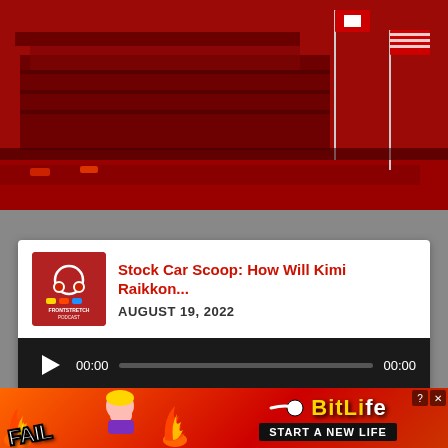[Figure (photo): Red-tinted photo of a NASCAR racing stadium/grandstand packed with spectators, with flagpoles visible on the right side. The entire image has a strong red color overlay.]
[Figure (screenshot): Podcast player card showing 'Stock Car Scoop: How Will Kimi Raikkon...' dated AUGUST 19, 2022, with a podcast thumbnail image and audio player showing 00:00 / 00:00 with play button and progress bar.]
Stock Car Scoop: How Will Kimi Raikkon...
AUGUST 19, 2022
[Figure (screenshot): BitLife advertisement banner with 'FAIL' text, cartoon emoji figures, fire and a sperm emoji logo, with BitLife branding and 'START A NEW LIFE' tagline on dark background.]